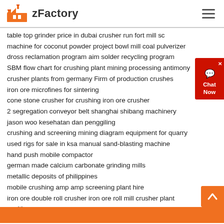zFactory
table top grinder price in dubai crusher run fort mill sc
machine for coconut powder project bowl mill coal pulverizer
dross reclamation program aim solder recycling program
SBM flow chart for crushing plant mining processing antimony
crusher plants from germany Firm of production crushes
iron ore microfines for sintering
cone stone crusher for crushing iron ore crusher
2 segregation conveyor belt shanghai shibang machinery jason woo kesehatan dan penggiling
crushing and screening mining diagram equipment for quarry
used rigs for sale in ksa manual sand-blasting machine
hand push mobile compactor
german made calcium carbonate grinding mills
metallic deposits of philippines
mobile crushing amp amp screening plant hire
iron ore double roll crusher iron ore roll mill crusher plant zenith
zFactory